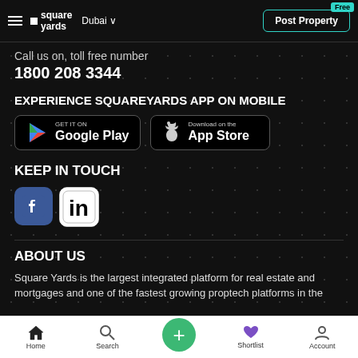Square Yards — Dubai — Post Property (Free)
Call us on, toll free number
1800 208 3344
EXPERIENCE SQUAREYARDS APP ON MOBILE
[Figure (logo): Google Play badge and App Store badge buttons]
KEEP IN TOUCH
[Figure (logo): Facebook and LinkedIn social media icons]
ABOUT US
Square Yards is the largest integrated platform for real estate and mortgages and one of the fastest growing proptech platforms in the
Home  Search  +  Shortlist  Account